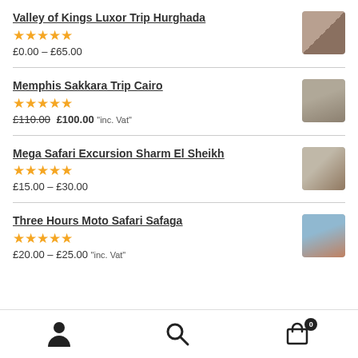Valley of Kings Luxor Trip Hurghada — 5 stars — £0.00 – £65.00
Memphis Sakkara Trip Cairo — 5 stars — £110.00 £100.00 "inc. Vat"
Mega Safari Excursion Sharm El Sheikh — 5 stars — £15.00 – £30.00
Three Hours Moto Safari Safaga — 5 stars — £20.00 – £25.00 "inc. Vat"
Navigation bar with person icon, search icon, and cart icon (0)